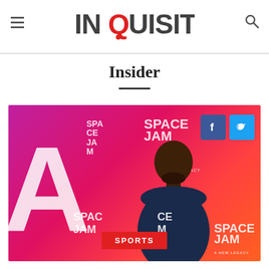INQUISITR
Insider
[Figure (photo): LeBron James standing at a Space Jam: A New Legacy premiere event, wearing a navy suit, with a pink/magenta gradient background. Facebook and Twitter share buttons are overlaid in the top right. A red SPORTS badge is overlaid at the bottom center.]